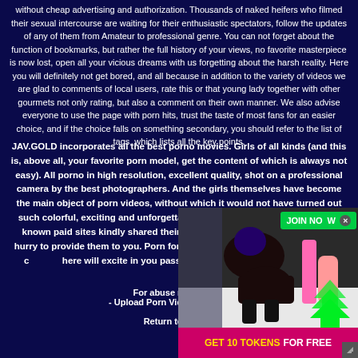without cheap advertising and authorization. Thousands of naked heifers who filmed their sexual intercourse are waiting for their enthusiastic spectators, follow the updates of any of them from Amateur to professional genre. You can not forget about the function of bookmarks, but rather the full history of your views, no favorite masterpiece is now lost, open all your vicious dreams with us forgetting about the harsh reality. Here you will definitely not get bored, and all because in addition to the variety of videos we are glad to comments of local users, rate this or that young lady together with other gourmets not only rating, but also a comment on their own manner. We also advise everyone to use the page with porn hits, trust the taste of most fans for an easier choice, and if the choice falls on something secondary, you should refer to the list of tags, which lists all the key points.
JAV.GOLD incorporates all the best porno movies. Girls of all kinds (and this is, above all, your favorite porn model, get the content of which is always not easy). All porno in high resolution, excellent quality, shot on a professional camera by the best photographers. And the girls themselves have become the main object of porn videos, without which it would not have turned out such colorful, exciting and unforgettable videos. Foreign partners of well-known paid sites kindly shared their collections with us, and we are in a hurry to provide them to you. Porn for the true connoisseurs of high quality content, every video collected here will excite in you passion and will not leave anyone indifferent. And most importa...
For abuse m...
- Upload Porn Videos - JAV An...
Return to JAV...
[Figure (photo): Advertisement overlay showing a woman figure with JOIN NOW button and green arrows, and a pink banner at the bottom reading GET 10 TOKENS FOR FREE]